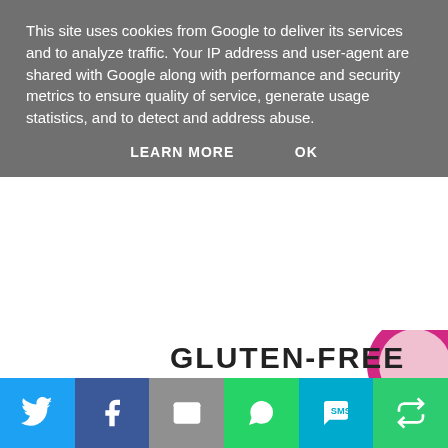This site uses cookies from Google to deliver its services and to analyze traffic. Your IP address and user-agent are shared with Google along with performance and security metrics to ensure quality of service, generate usage statistics, and to detect and address abuse.
LEARN MORE    OK
[Figure (logo): Gluten-Free blog logo with text GLUTEN-FREE EST. 2010 and partial pink circle]
WEDNESDAY, MAY 28, 2014
TWO LAYER GLUTEN FREE DOUBLE NUTELLA BROWNIES
[Figure (infographic): Social share bar with icons for Twitter, Facebook, Email, WhatsApp, SMS, and More]